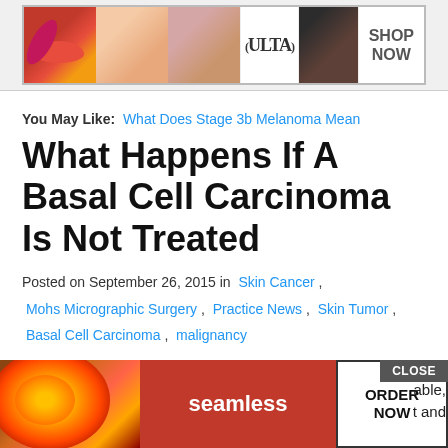[Figure (illustration): ULTA Beauty advertisement banner with makeup images (lips, brush, eye) and 'SHOP NOW' button]
You May Like:  What Does Stage 3b Melanoma Mean
What Happens If A Basal Cell Carcinoma Is Not Treated
Posted on September 26, 2015 in  Skin Cancer ,
Mohs Micrographic Surgery ,  Practice News ,  Skin Tumor ,
Basal Cell Carcinoma ,  malignancy
A  basal cell carcinoma  is one of the more common forms of  skin cancer  and, fortunately, one of the mo… able, says D… t and skin c…
[Figure (advertisement): Seamless food delivery advertisement with pizza image and ORDER NOW button, with CLOSE button overlay]